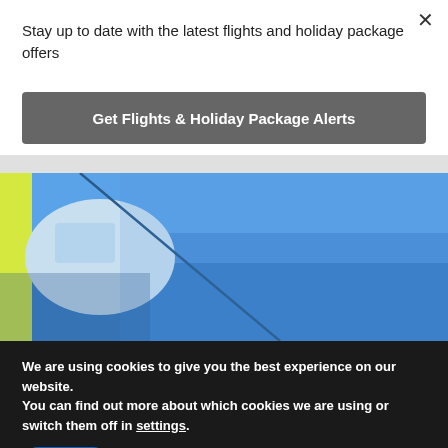Stay up to date with the latest flights and holiday package offers
Get Flights & Holiday Package Alerts
[Figure (photo): Close-up of a blue airplane fuselage and wing against a blue sky, with a yellow element visible on the left edge.]
We are using cookies to give you the best experience on our website.
You can find out more about which cookies we are using or switch them off in settings.
Accept